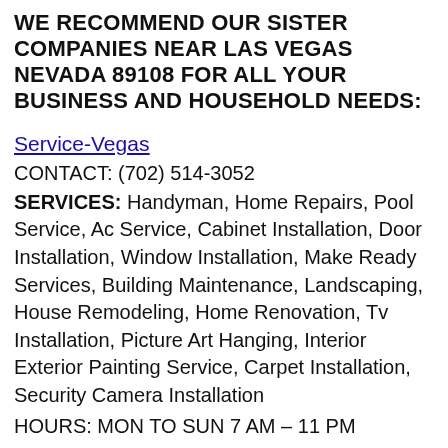WE RECOMMEND OUR SISTER COMPANIES NEAR LAS VEGAS NEVADA 89108 FOR ALL YOUR BUSINESS AND HOUSEHOLD NEEDS:
Service-Vegas
CONTACT: (702) 514-3052
SERVICES: Handyman, Home Repairs, Pool Service, Ac Service, Cabinet Installation, Door Installation, Window Installation, Make Ready Services, Building Maintenance, Landscaping, House Remodeling, Home Renovation, Tv Installation, Picture Art Hanging, Interior Exterior Painting Service, Carpet Installation, Security Camera Installation
HOURS: MON TO SUN 7 AM – 11 PM